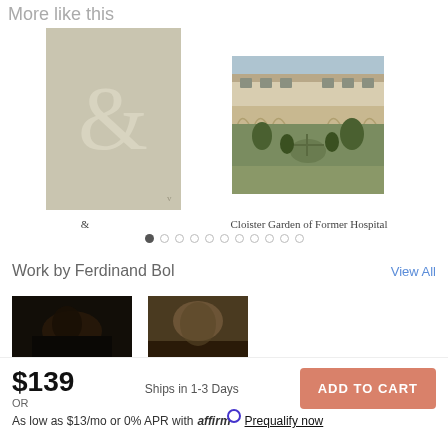More like this
[Figure (illustration): Ampersand symbol on beige/tan background, decorative art print]
[Figure (photo): Cloister Garden of Former Hospital — aerial/courtyard view of historic Italian building with garden]
&
Cloister Garden of Former Hospital
Work by Ferdinand Bol
View All
[Figure (photo): Dark artwork thumbnail - Work by Ferdinand Bol]
[Figure (photo): Dark artwork thumbnail - Work by Ferdinand Bol]
$139
OR
Ships in 1-3 Days
ADD TO CART
As low as $13/mo or 0% APR with affirm  Prequalify now